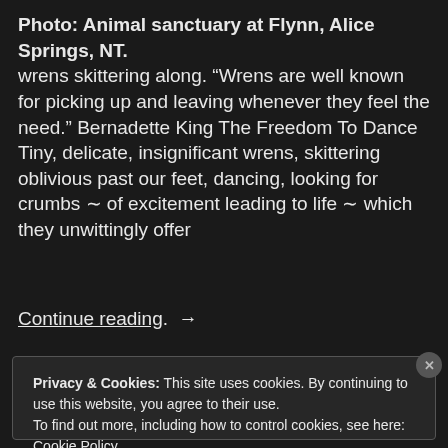Photo: Animal sanctuary at Flynn, Alice Springs, NT.
wrens skittering along. “Wrens are well known for picking up and leaving whenever they feel the need.” Bernadette King The Freedom To Dance Tiny, delicate, insignificant wrens, skittering oblivious past our feet, dancing, looking for crumbs ∼ of excitement leading to life ∼ which they unwittingly offer
Continue reading →
Privacy & Cookies: This site uses cookies. By continuing to use this website, you agree to their use.
To find out more, including how to control cookies, see here: Cookie Policy
Close and accept